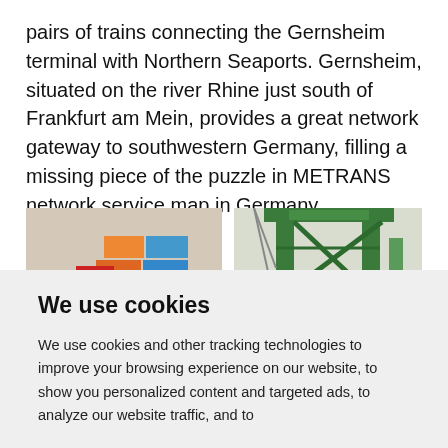pairs of trains connecting the Gernsheim terminal with Northern Seaports. Gernsheim, situated on the river Rhine just south of Frankfurt am Mein, provides a great network gateway to southwestern Germany, filling a missing piece of the puzzle in METRANS network service map in Germany.
[Figure (photo): Stacked colorful shipping containers at a terminal — pink, orange, yellow, blue, red containers visible.]
[Figure (photo): Green crane structure at a rail or container terminal, seen from below against a bright sky.]
We use cookies
We use cookies and other tracking technologies to improve your browsing experience on our website, to show you personalized content and targeted ads, to analyze our website traffic, and to